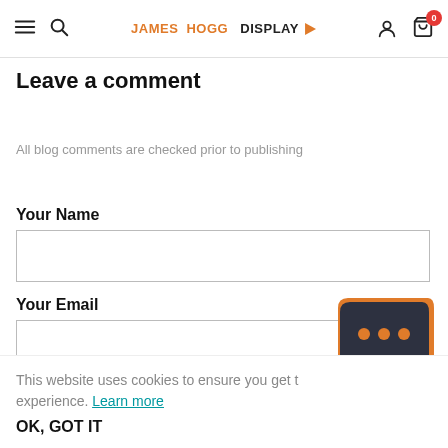JAMES HOGG DISPLAY
Leave a comment
All blog comments are checked prior to publishing
Your Name
Your Email
This website uses cookies to ensure you get the best experience. Learn more
OK, GOT IT